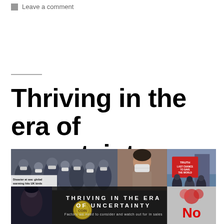Leave a comment
Thriving in the era of uncertainty
[Figure (photo): Collage image showing: top-left — crowd of masked people, with newspaper headline 'Disaster at sea: global warming hits UK birds'; top-center — woman wearing a mask; top-right — protest signs reading 'TRUTH LAST CHANCE TO SAVE THE WORLD'; center banner overlay — 'THRIVING IN THE ERA OF UNCERTAINTY' with subtitle 'Factors we need to consider and watch out for in sales'; bottom-right — red 'NO' sign.]